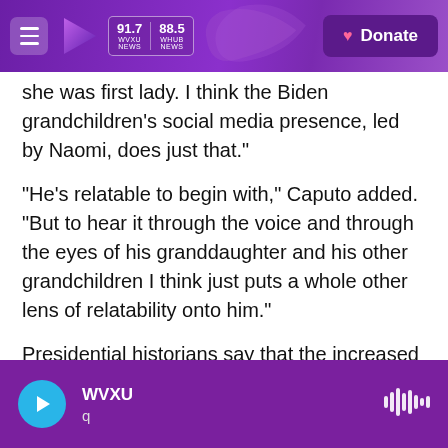WVXU 91.7 NEWS | WHUB 88.5 NEWS | Donate
she was first lady. I think the Biden grandchildren's social media presence, led by Naomi, does just that."
"He's relatable to begin with," Caputo added. "But to hear it through the voice and through the eyes of his granddaughter and his other grandchildren I think just puts a whole other lens of relatability onto him."
Presidential historians say that the increased use of social media over the past decade has amplified the voices of the first and second families.
WVXU q